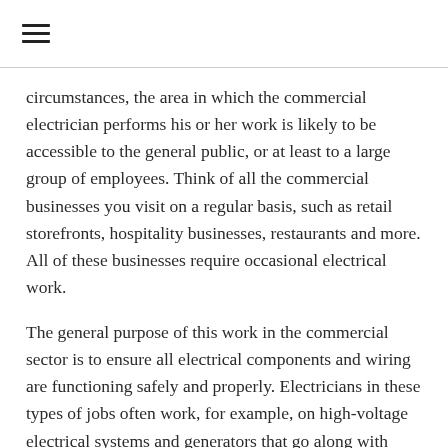≡
circumstances, the area in which the commercial electrician performs his or her work is likely to be accessible to the general public, or at least to a large group of employees. Think of all the commercial businesses you visit on a regular basis, such as retail storefronts, hospitality businesses, restaurants and more. All of these businesses require occasional electrical work.
The general purpose of this work in the commercial sector is to ensure all electrical components and wiring are functioning safely and properly. Electricians in these types of jobs often work, for example, on high-voltage electrical systems and generators that go along with major HVAC units on the premises, though various other types of electrical repairs and installations are also common.
Industrial electricians